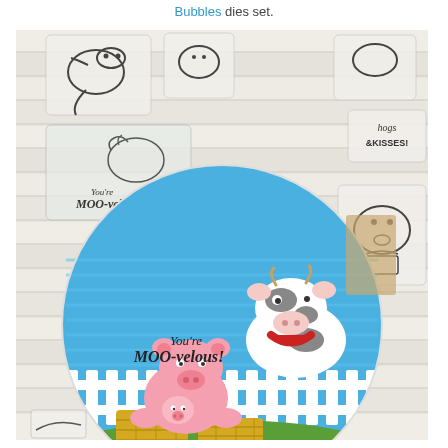Bubbles dies set.
[Figure (photo): Photo of a handmade card craft project featuring rubber stamps of farm animals (cow, pigs, elephant) on clear acrylic blocks and a completed circular card with a blue sky background, white picket fence, a cow peeking over the fence, and a pink pig sitting in hay bales below. The text 'You're MOO-velous!' appears on the card. Stamp sentiments visible include 'hogs & KISSES!' and 'You're MOO-velous!'. Items are laid out on a white wood surface.]